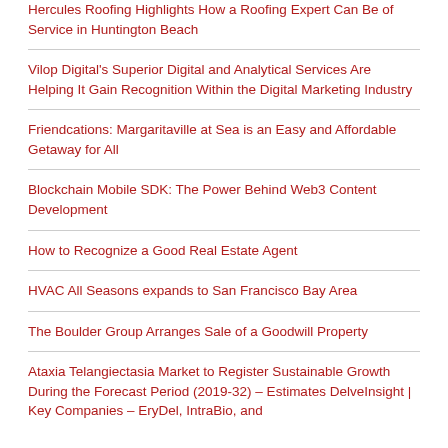Hercules Roofing Highlights How a Roofing Expert Can Be of Service in Huntington Beach
Vilop Digital's Superior Digital and Analytical Services Are Helping It Gain Recognition Within the Digital Marketing Industry
Friendcations: Margaritaville at Sea is an Easy and Affordable Getaway for All
Blockchain Mobile SDK: The Power Behind Web3 Content Development
How to Recognize a Good Real Estate Agent
HVAC All Seasons expands to San Francisco Bay Area
The Boulder Group Arranges Sale of a Goodwill Property
Ataxia Telangiectasia Market to Register Sustainable Growth During the Forecast Period (2019-32) – Estimates DelveInsight | Key Companies – EryDel, IntraBio, and